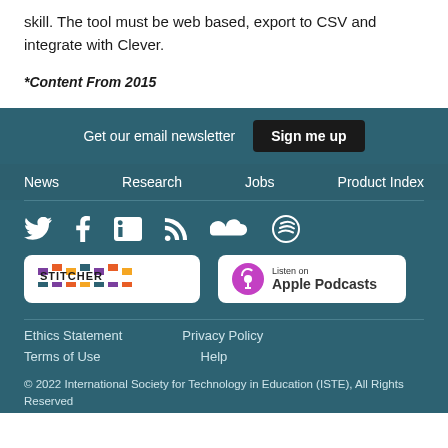skill. The tool must be web based, export to CSV and integrate with Clever.
*Content From 2015
Get our email newsletter   Sign me up
News   Research   Jobs   Product Index
[Figure (infographic): Social media icons: Twitter, Facebook, LinkedIn, RSS, SoundCloud, Spotify]
[Figure (logo): Stitcher podcast badge]
[Figure (logo): Listen on Apple Podcasts badge]
Ethics Statement   Privacy Policy
Terms of Use   Help
© 2022 International Society for Technology in Education (ISTE), All Rights Reserved